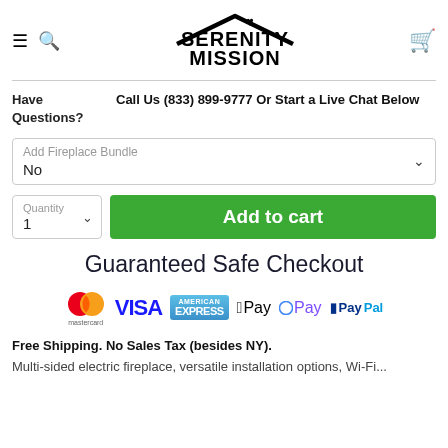[Figure (logo): Serenity Mission logo with rooftop icon and heart]
Have Questions? Call Us (833) 899-9777 Or Start a Live Chat Below
Add Fireplace Bundle No
Quantity 1
Add to cart
Guaranteed Safe Checkout
[Figure (infographic): Payment icons: Mastercard, Visa, American Express, Apple Pay, GPay, PayPal]
Free Shipping. No Sales Tax (besides NY).
Multi-sided electric fireplace, versatile installation options, Wi-Fi...